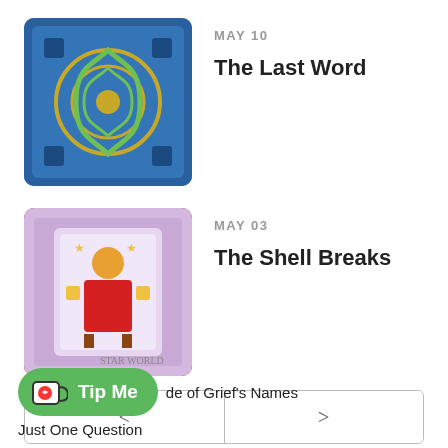[Figure (illustration): Tarot card thumbnail with decorative blue and gold pattern]
MAY 10
The Last Word
[Figure (illustration): Tarot card thumbnail with colorful character illustrations]
MAY 03
The Shell Breaks
< >
WHAT'S NEW: NINE'S PATH
Tip Me
de of Grief's Names
Just One Question